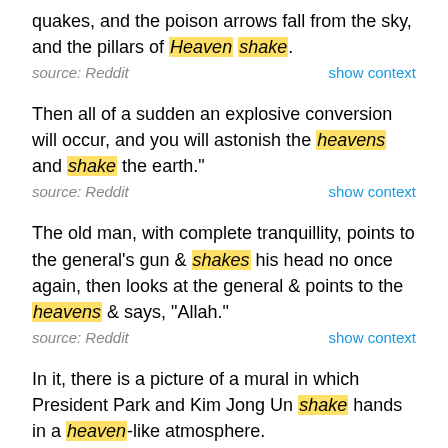quakes, and the poison arrows fall from the sky, and the pillars of Heaven shake.
source: Reddit   show context
Then all of a sudden an explosive conversion will occur, and you will astonish the heavens and shake the earth."
source: Reddit   show context
The old man, with complete tranquillity, points to the general's gun & shakes his head no once again, then looks at the general & points to the heavens & says, "Allah."
source: Reddit   show context
In it, there is a picture of a mural in which President Park and Kim Jong Un shake hands in a heaven-like atmosphere.
source: Reddit   show context
The characters are well done. Han and Leia arrive fully